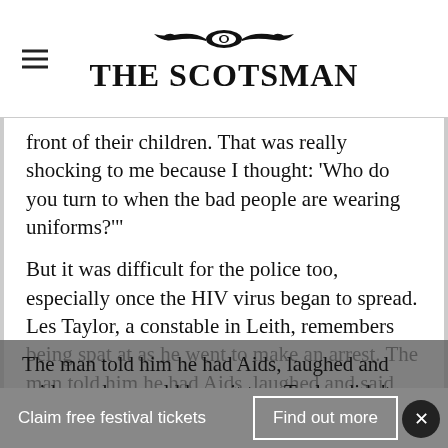THE SCOTSMAN
front of their children. That was really shocking to me because I thought: ‘Who do you turn to when the bad people are wearing uniforms?’”
But it was difficult for the police too, especially once the HIV virus began to spread. Les Taylor, a constable in Leith, remembers being spat at as he went to make an arrest. The man told him he had Aids, laughed and said now he would have it too. Taylor didn’t know what he was talking about.
Claim free festival tickets   Find out more